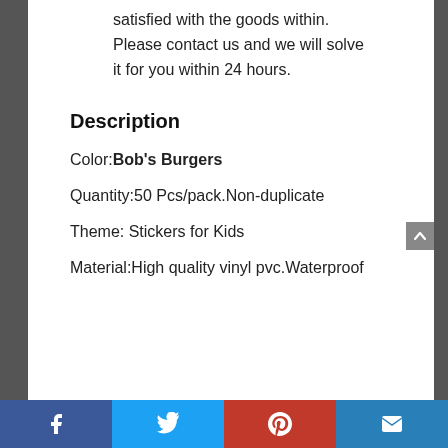satisfied with the goods within. Please contact us and we will solve it for you within 24 hours.
Description
Color:Bob's Burgers
Quantity:50 Pcs/pack.Non-duplicate
Theme: Stickers for Kids
Material:High quality vinyl pvc.Waterproof